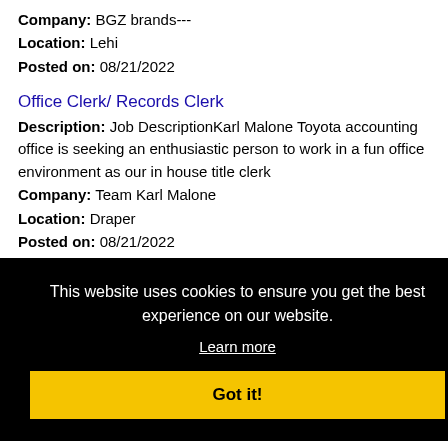Company: BGZ brands---
Location: Lehi
Posted on: 08/21/2022
Office Clerk/ Records Clerk
Description: Job DescriptionKarl Malone Toyota accounting office is seeking an enthusiastic person to work in a fun office environment as our in house title clerk
Company: Team Karl Malone
Location: Draper
Posted on: 08/21/2022
[Figure (screenshot): Cookie consent popup overlay with black background. Text reads: 'This website uses cookies to ensure you get the best experience on our website.' with a 'Learn more' underlined link and a yellow 'Got it!' button.]
full-
Utah
Jobs |Salary